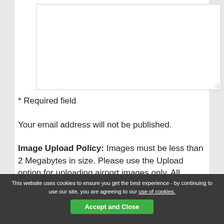[Figure (screenshot): Empty textarea input box with resize handle in bottom-right corner]
* Required field
Your email address will not be published.
Image Upload Policy: Images must be less than 2 Megabytes in size. Please use the Upload option for uploading airport images only. All images uploaded to World-Airport-Codes.com should be uploaded with the permission of the photographer or copyright holder. By uploading a photo to World
This website uses cookies to ensure you get the best experience - by continuing to use our site, you are agreeing to our use of cookies. Accept and Close